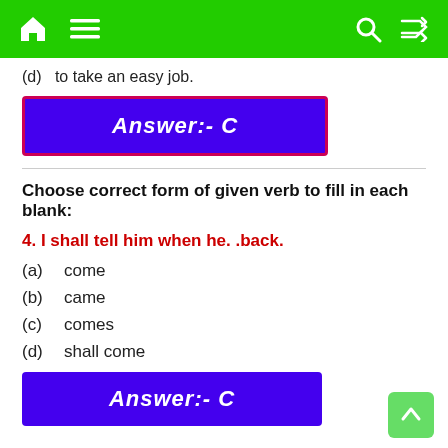Navigation bar with home, menu, search, shuffle icons
(d)  to take an easy job.
Answer:- C
Choose correct form of given verb to fill in each blank:
4. I shall tell him when he. .back.
(a)  come
(b)  came
(c)  comes
(d)  shall come
Answer:- C